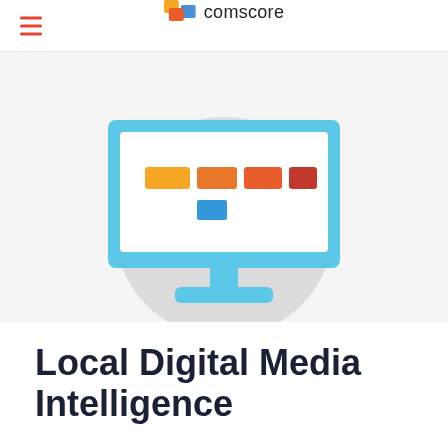comscore
[Figure (illustration): Comscore website illustration showing a monitor/desktop computer with colorful horizontal bar segments (yellow, orange, red) on the screen and a blue rectangle below them, set against a light grey circular background. The monitor has a cyan/light blue frame and stand.]
Local Digital Media Intelligence